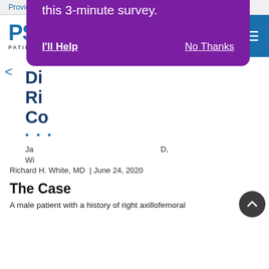Provide Feedback | Submit a Case
[Figure (logo): PSNet Patient Safety Network logo with blue header bar and search/user/menu icons]
< (back arrow)
Di... Ri... Co...  (Diagnosis-Related article title, partially obscured)
... (ellipsis dots)
Jan... D, Wi... Richard H. White, MD | June 24, 2020
[Figure (screenshot): Purple modal overlay: 'Help us improve our website with this 3-minute survey.' with 'I'll Help' and 'No Thanks' buttons]
The Case
A male patient with a history of right axillofemoral